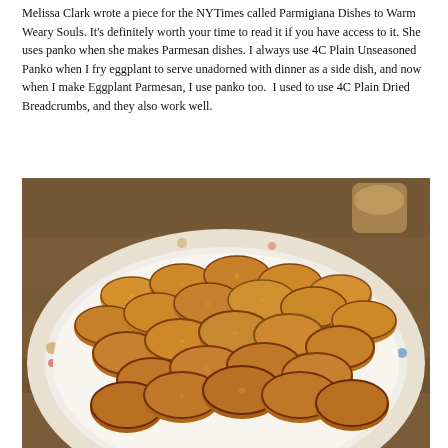Melissa Clark wrote a piece for the NYTimes called Parmigiana Dishes to Warm Weary Souls. It's definitely worth your time to read it if you have access to it. She uses panko when she makes Parmesan dishes. I always use 4C Plain Unseasoned Panko when I fry eggplant to serve unadorned with dinner as a side dish, and now when I make Eggplant Parmesan, I use panko too.  I used to use 4C Plain Dried Breadcrumbs, and they also work well.
[Figure (photo): A white plate with floral pattern along the rim holding a large pile of golden-brown fried eggplant slices coated in breadcrumbs, arranged on a wooden table.]